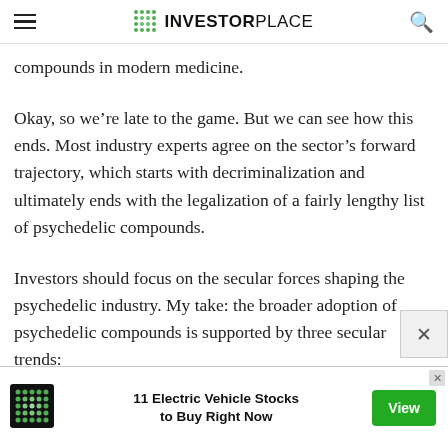INVESTORPLACE
compounds in modern medicine.
Okay, so we’re late to the game. But we can see how this ends. Most industry experts agree on the sector’s forward trajectory, which starts with decriminalization and ultimately ends with the legalization of a fairly lengthy list of psychedelic compounds.
Investors should focus on the secular forces shaping the psychedelic industry. My take: the broader adoption of psychedelic compounds is supported by three secular trends:
[Figure (infographic): Advertisement banner: InvestorPlace green dot-grid logo, text '11 Electric Vehicle Stocks to Buy Right Now', green 'View' button, and close X icon.]